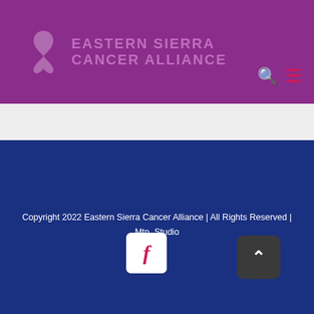Eastern Sierra Cancer Alliance
[Figure (logo): Purple awareness ribbon icon]
Copyright 2022 Eastern Sierra Cancer Alliance | All Rights Reserved | Mtn. Studio
[Figure (logo): Facebook button - white rounded square with red italic f]
[Figure (other): Scroll to top button - dark gray rounded square with white up arrow caret]